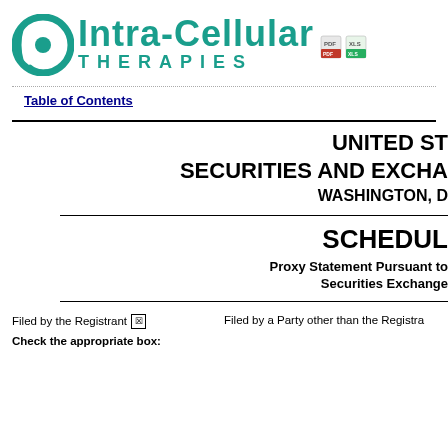[Figure (logo): Intra-Cellular Therapies logo with teal circle/dot icon and company name]
Table of Contents
UNITED STATES SECURITIES AND EXCHANGE COMMISSION WASHINGTON, D.C.
SCHEDULE 14A
Proxy Statement Pursuant to Section 14(a) of the Securities Exchange Act of 1934
Filed by the Registrant ☒
Filed by a Party other than the Registrant ☐
Check the appropriate box: